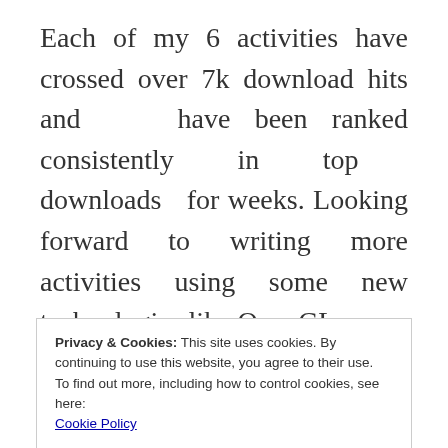Each of my 6 activities have crossed over 7k download hits and have been ranked consistently in top downloads for weeks. Looking forward to writing more activities using some new technologies like OpenGL.
I am very happy to announce that all my hard work paid-off with a paid internship offer
Privacy & Cookies: This site uses cookies. By continuing to use this website, you agree to their use.
To find out more, including how to control cookies, see here:
Cookie Policy
Close and accept
months prior to GSoC application period i.e